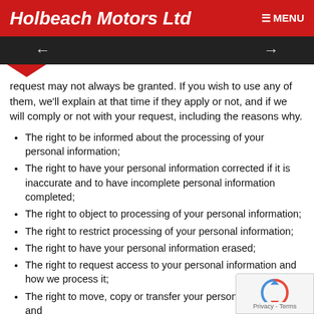Holbeach Motors Ltd   ☰ MENU
request may not always be granted. If you wish to use any of them, we'll explain at that time if they apply or not, and if we will comply or not with your request, including the reasons why.
The right to be informed about the processing of your personal information;
The right to have your personal information corrected if it is inaccurate and to have incomplete personal information completed;
The right to object to processing of your personal information;
The right to restrict processing of your personal information;
The right to have your personal information erased;
The right to request access to your personal information and how we process it;
The right to move, copy or transfer your personal information; and